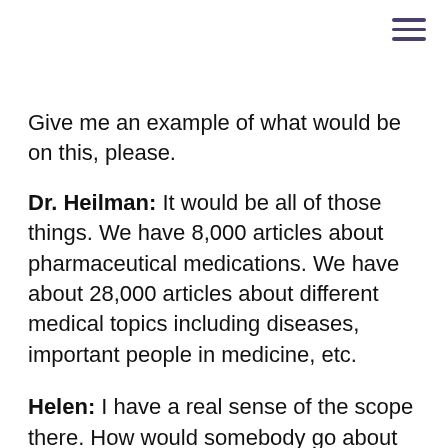☰
Give me an example of what would be on this, please.
Dr. Heilman: It would be all of those things. We have 8,000 articles about pharmaceutical medications. We have about 28,000 articles about different medical topics including diseases, important people in medicine, etc.
Helen: I have a real sense of the scope there. How would somebody go about finding it? Walk us through this, please.
Dr. Heilman: The amazing thing about Wikipedia is how frequently it is read. They've done surveys of different populations of people. In the developed world, most people use Wikipedia at